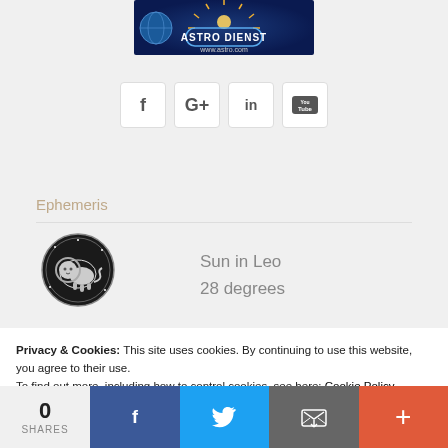[Figure (logo): Astro Dienst banner with globe and sun imagery, www.astro.com]
[Figure (infographic): Row of social media buttons: Facebook (f), Google+ (G+), LinkedIn (in), YouTube]
Ephemeris
[Figure (illustration): Leo zodiac sign circular black emblem with lion illustration]
Sun in Leo
28 degrees
Privacy & Cookies: This site uses cookies. By continuing to use this website, you agree to their use.
To find out more, including how to control cookies, see here: Cookie Policy
[Figure (infographic): Bottom share bar with count 0 SHARES, Facebook, Twitter, Email, and plus buttons]